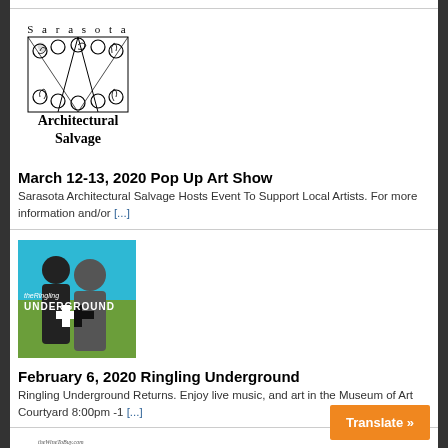[Figure (logo): Sarasota Architectural Salvage logo with decorative swirl graphic and text 'Sarasota Architectural Salvage']
March 12-13, 2020 Pop Up Art Show
Sarasota Architectural Salvage Hosts Event To Support Local Artists. For more information and/or [...]
[Figure (photo): The Ringling Underground event image: silhouettes of people against blue and green background with 'theRingling UNDERGROUND' text]
February 6, 2020 Ringling Underground
Ringling Underground Returns. Enjoy live music, and art in the Museum of Art Courtyard 8:00pm -1 [...]
[Figure (logo): theWineToBuy.com Sarasota's Premier Wine Warehouse logo in orange and black]